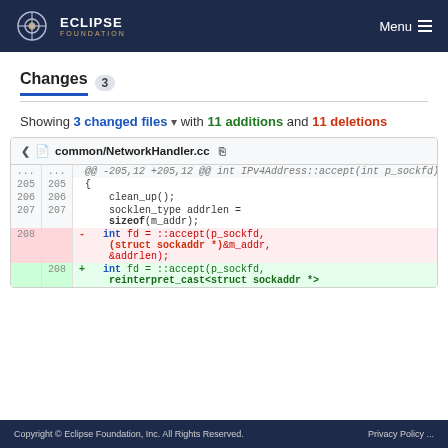ECLIPSE FOUNDATION  Menu
Changes 3
Showing 3 changed files with 11 additions and 11 deletions
[Figure (screenshot): Code diff view for common/NetworkHandler.cc showing line changes around line 208: deletion of 'int fd = ::accept(p_sockfd, (struct sockaddr *)&m_addr, &addrlen);' and addition of 'int fd = ::accept(p_sockfd, reinterpret_cast<struct sockaddr *>']
Copyright © Eclipse Foundation, Inc. All Rights Reserved.  Privacy Policy ...